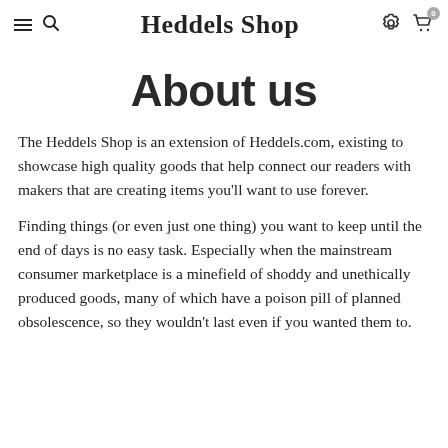Heddels Shop
About us
The Heddels Shop is an extension of Heddels.com, existing to showcase high quality goods that help connect our readers with makers that are creating items you'll want to use forever.
Finding things (or even just one thing) you want to keep until the end of days is no easy task. Especially when the mainstream consumer marketplace is a minefield of shoddy and unethically produced goods, many of which have a poison pill of planned obsolescence, so they wouldn't last even if you wanted them to.